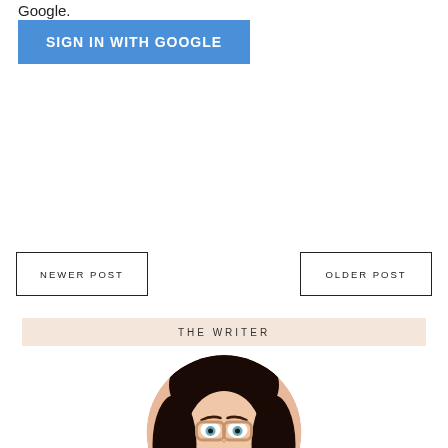Google.
SIGN IN WITH GOOGLE
NEWER POST
OLDER POST
THE WRITER
[Figure (photo): Circular portrait photo of a young woman with long dark hair and round glasses with light-colored frames, wearing a red outfit, looking at the camera.]